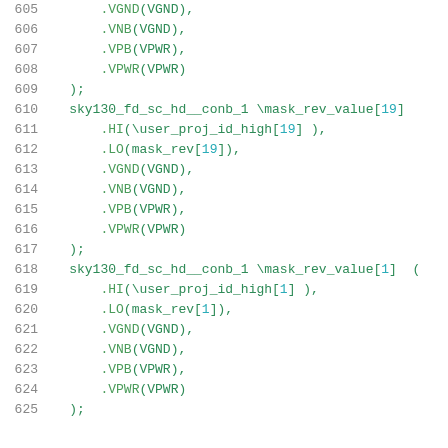Code listing lines 605-625: Verilog/HDL instantiation code showing sky130_fd_sc_hd__conb_1 module connections with VGND, VNB, VPB, VPWR ports and mask_rev_value signal connections.